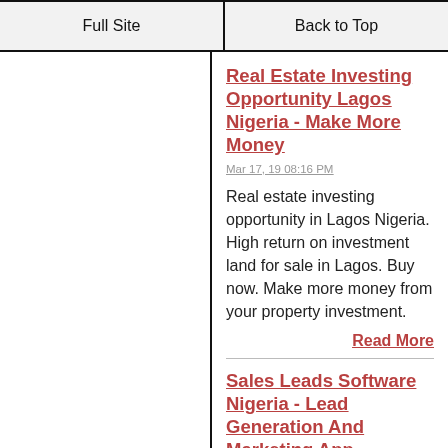Full Site | Back to Top
Real Estate Investing Opportunity Lagos Nigeria - Make More Money
Mar 17, 19 08:16 PM
Real estate investing opportunity in Lagos Nigeria. High return on investment land for sale in Lagos. Buy now. Make more money from your property investment.
Read More
Sales Leads Software Nigeria - Lead Generation And Marketing App